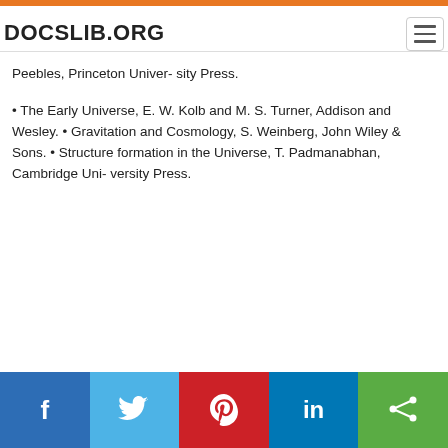DOCSLIB.ORG
Peebles, Princeton Univer- sity Press.
• The Early Universe, E. W. Kolb and M. S. Turner, Addison and Wesley. • Gravitation and Cosmology, S. Weinberg, John Wiley & Sons. • Structure formation in the Universe, T. Padmanabhan, Cambridge Uni- versity Press.